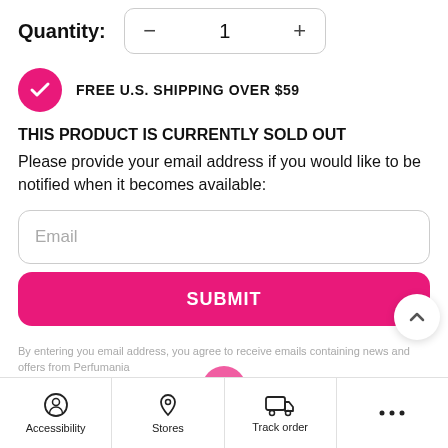Quantity: — 1 +
FREE U.S. SHIPPING OVER $59
THIS PRODUCT IS CURRENTLY SOLD OUT
Please provide your email address if you would like to be notified when it becomes available:
Email
SUBMIT
By entering you email address, you agree to receive emails containing news and offers from Perfumania
Accessibility  Stores  Track order  ...